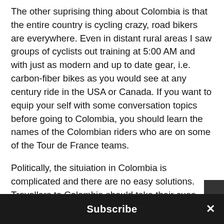The other suprising thing about Colombia is that the entire country is cycling crazy, road bikers are everywhere. Even in distant rural areas I saw groups of cyclists out training at 5:00 AM and with just as modern and up to date gear, i.e. carbon-fiber bikes as you would see at any century ride in the USA or Canada. If you want to equip your self with some conversation topics before going to Colombia, you should learn the names of the Colombian riders who are on some of the Tour de France teams.
Politically, the situiation in Colombia is complicated and there are no easy solutions. Travellers to Colombia should take their cues about security from the Colombians; when they are concerned about
Subscribe